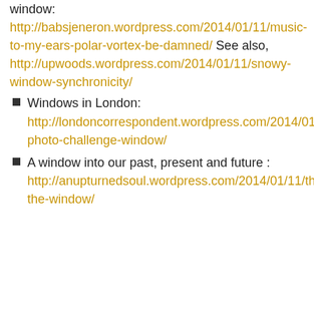window: http://babsjeneron.wordpress.com/2014/01/11/music-to-my-ears-polar-vortex-be-damned/ See also, http://upwoods.wordpress.com/2014/01/11/snowy-window-synchronicity/
Windows in London: http://londoncorrespondent.wordpress.com/2014/01/11/weekly-photo-challenge-window/
A window into our past, present and future : http://anupturnedsoul.wordpress.com/2014/01/11/through-the-window/